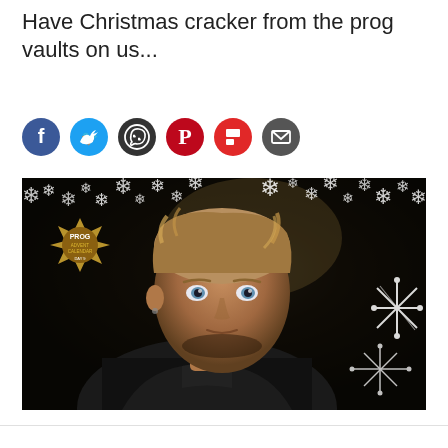Have Christmas cracker from the prog vaults on us...
[Figure (other): Row of social media sharing icons: Facebook (blue), Twitter (light blue), WhatsApp (dark), Pinterest (red), Flipboard (red), Email (dark grey)]
[Figure (photo): Prog Advent Calendar Day 9 promotional image featuring a man with medium-length blond hair wearing a black leather jacket, looking directly at camera, with snowflake decorations overlaid on a dark background, and a gold Prog Advent Calendar badge in the upper left corner.]